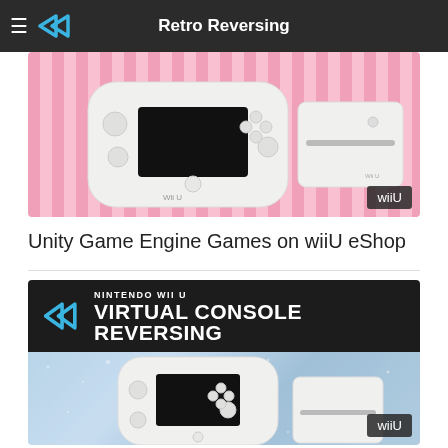Retro Reversing
[Figure (screenshot): Wii U gamepad and console on a pink striped background with 'wiiU' badge]
Unity Game Engine Games on wiiU eShop
[Figure (screenshot): Nintendo Wii U Virtual Console Reversing banner image with Wii U gamepad and console on glittery blue background with 'wiiU' badge]